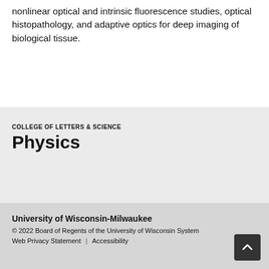nonlinear optical and intrinsic fluorescence studies, optical histopathology, and adaptive optics for deep imaging of biological tissue.
COLLEGE OF LETTERS & SCIENCE
Physics
University of Wisconsin-Milwaukee
© 2022 Board of Regents of the University of Wisconsin System
Web Privacy Statement | Accessibility